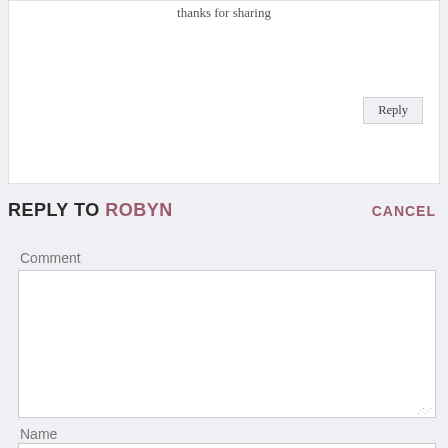thanks for sharing
Reply
REPLY TO ROBYN    CANCEL
Comment
Name